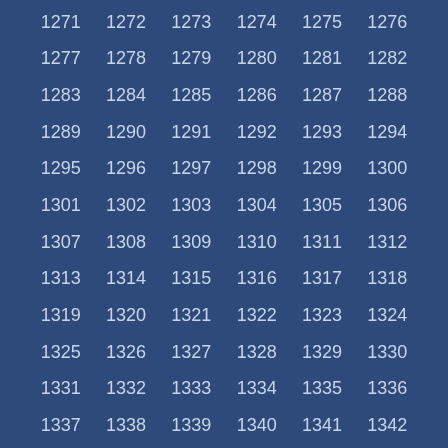| 1271 | 1272 | 1273 | 1274 | 1275 | 1276 |
| 1277 | 1278 | 1279 | 1280 | 1281 | 1282 |
| 1283 | 1284 | 1285 | 1286 | 1287 | 1288 |
| 1289 | 1290 | 1291 | 1292 | 1293 | 1294 |
| 1295 | 1296 | 1297 | 1298 | 1299 | 1300 |
| 1301 | 1302 | 1303 | 1304 | 1305 | 1306 |
| 1307 | 1308 | 1309 | 1310 | 1311 | 1312 |
| 1313 | 1314 | 1315 | 1316 | 1317 | 1318 |
| 1319 | 1320 | 1321 | 1322 | 1323 | 1324 |
| 1325 | 1326 | 1327 | 1328 | 1329 | 1330 |
| 1331 | 1332 | 1333 | 1334 | 1335 | 1336 |
| 1337 | 1338 | 1339 | 1340 | 1341 | 1342 |